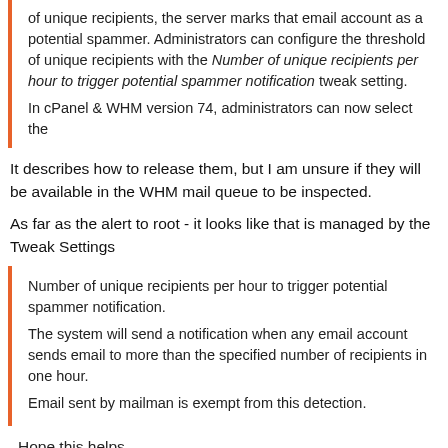of unique recipients, the server marks that email account as a potential spammer. Administrators can configure the threshold of unique recipients with the Number of unique recipients per hour to trigger potential spammer notification tweak setting.

In cPanel & WHM version 74, administrators can now select the
It describes how to release them, but I am unsure if they will be available in the WHM mail queue to be inspected.
As far as the alert to root - it looks like that is managed by the Tweak Settings
Number of unique recipients per hour to trigger potential spammer notification.
The system will send a notification when any email account sends email to more than the specified number of recipients in one hour.
Email sent by mailman is exempt from this detection.
Hope this helps.
Gino Viroli